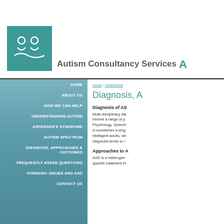[Figure (logo): Autism Consultancy Services logo: teal square with two white stylized human figures and a wave/smile shape]
Autism Consultancy Services
HOME
ABOUT US
HOW WE CAN HELP
UNDERSTANDING AUTISM
ASPERGER'S SYNDROME
AUTISM SPECTRUM
DIAGNOSIS, APPROACHES & OUTCOMES
FREQUENTLY ASKED QUESTIONS
FORENSIC ISSUES AND ASD
CONTACT US
Home / Understand
Diagnosis, A
Diagnosis of AS
Multi-disciplinary dia involve a range of p Psychology, Speech is sometimes a leng intelligent adults, wh diagnosis tends to i
Approaches to A
ASD is a heterogen specific treatment th